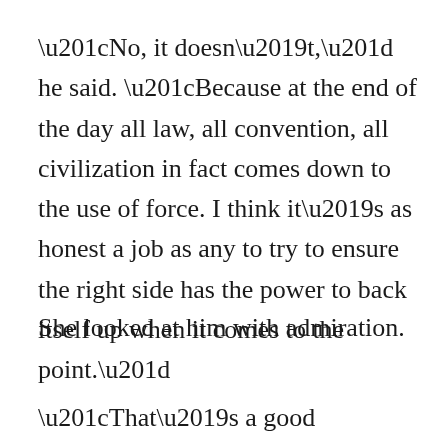“No, it doesn’t,” he said. “Because at the end of the day all law, all convention, all civilization in fact comes down to the use of force. I think it’s as honest a job as any to try to ensure the right side has the power to back itself up when it comes to the point.”
She looked at him with admiration.
“That’s a good answer,” she said. “I